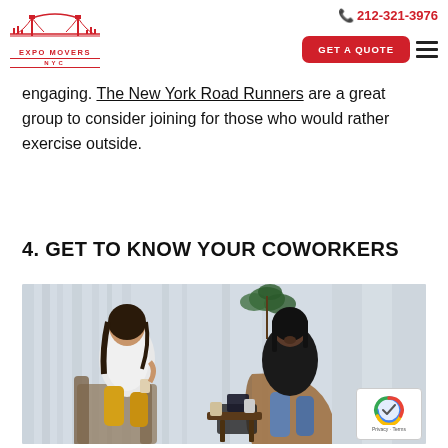212-321-3976 | GET A QUOTE | Expo Movers NYC
engaging. The New York Road Runners are a great group to consider joining for those who would rather exercise outside.
4. GET TO KNOW YOUR COWORKERS
[Figure (photo): Two women sitting in chairs having a conversation, one in a white shirt and yellow pants, the other in a black shirt and jeans, with a small table between them and a plant in the background.]